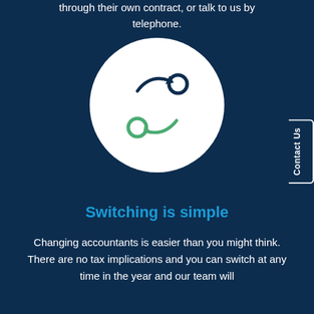through their own contract, or talk to us by telephone.
[Figure (illustration): White circle on dark blue background containing a switching/exchange icon: two stick figures (circles for heads) with arrows between them — one dark navy arrow pointing right and one green arrow pointing left, representing switching between accountants.]
Switching is simple
Changing accountants is easier than you might think. There are no tax implications and you can switch at any time in the year and our team will